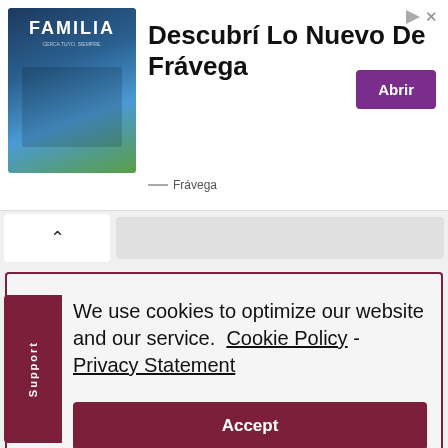[Figure (illustration): Advertisement banner for Frávega showing 'FAMILIA' branded image with people on left, large text 'Descubrí Lo Nuevo De Frávega' in center, purple 'Abrir' button on right, and 'Frávega' advertiser label at bottom left]
We use cookies to optimize our website and our service.  Cookie Policy - Privacy Statement
Accept
Reply